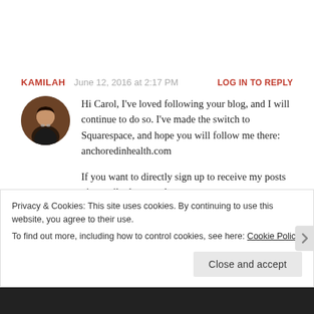KAMILAH   June 12, 2016 at 2:17 PM   LOG IN TO REPLY
[Figure (photo): Circular avatar photo of a woman wearing a necklace, dark clothing, against a warm background]
Hi Carol, I've loved following your blog, and I will continue to do so. I've made the switch to Squarespace, and hope you will follow me there: anchoredinhealth.com

If you want to directly sign up to receive my posts via email, please go here:
http://eepurl.com/b5bD1n
Privacy & Cookies: This site uses cookies. By continuing to use this website, you agree to their use.
To find out more, including how to control cookies, see here: Cookie Policy
Close and accept